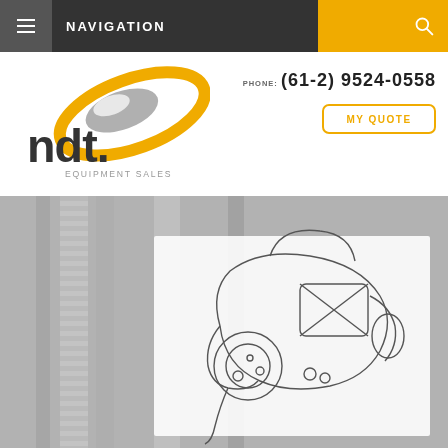NAVIGATION
[Figure (logo): NDT Equipment Sales logo with orange ellipse and grey ellipse]
PHONE: (61-2) 9524-0558
MY QUOTE
[Figure (photo): Background photo of metallic threaded rods/bolts in greyscale, overlaid with a technical line drawing of an NDT inspection device (hand-held scanner with cylindrical probe and ergonomic housing)]